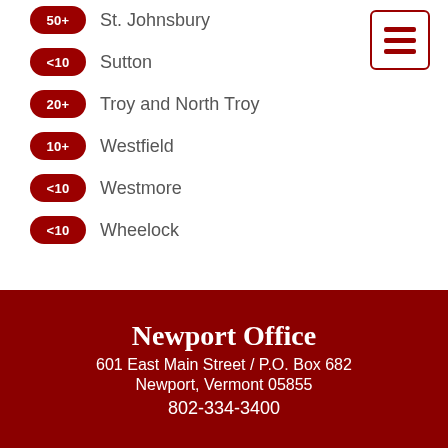50+ St. Johnsbury
<10 Sutton
20+ Troy and North Troy
10+ Westfield
<10 Westmore
<10 Wheelock
Newport Office
601 East Main Street / P.O. Box 682
Newport, Vermont 05855
802-334-3400